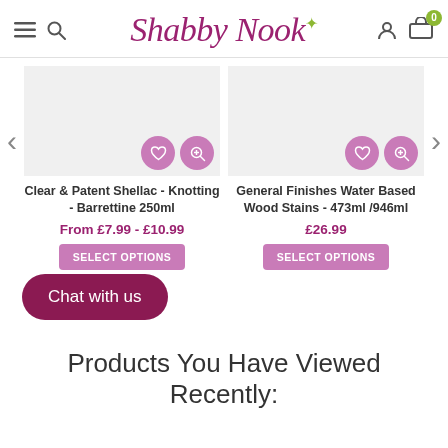Shabby Nook - navigation header with hamburger menu, search, logo, account and cart icons
[Figure (screenshot): Product card for Clear & Patent Shellac - Knotting - Barrettine 250ml with wishlist and zoom action buttons]
Clear & Patent Shellac - Knotting - Barrettine 250ml
From £7.99 - £10.99
SELECT OPTIONS
[Figure (screenshot): Product card for General Finishes Water Based Wood Stains - 473ml/946ml with wishlist and zoom action buttons]
General Finishes Water Based Wood Stains - 473ml/946ml
£26.99
SELECT OPTIONS
Chat with us
Products You Have Viewed Recently: